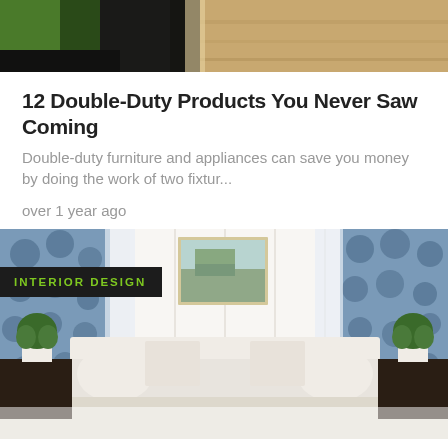[Figure (photo): Top portion of an article image showing dark objects and wooden floor]
12 Double-Duty Products You Never Saw Coming
Double-duty furniture and appliances can save you money by doing the work of two fixtur...
over 1 year ago
[Figure (photo): Interior design photo of a white living room with a sofa, blue floral curtains, potted plants, and a landscape painting on a white plank wall. Badge reads INTERIOR DESIGN.]
Sofa, So Good: 10 Creative Ways to Revive a Tired